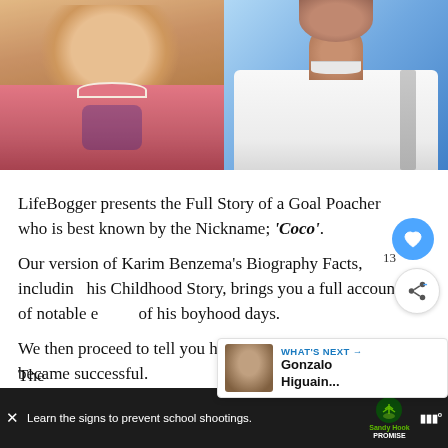[Figure (photo): Side-by-side comparison: left shows a childhood photo of a toddler wearing a pink shirt with a cartoon graphic; right shows an adult male in a white Real Madrid training jersey against a blue background, cropped at the chin/neck area.]
LifeBogger presents the Full Story of a Goal Poacher who is best known by the Nickname; 'Coco'.
Our version of Karim Benzema's Biography Facts, including his Childhood Story, brings you a full account of notable events of his boyhood days.
We then proceed to tell you how the Real Madrid legend became successful.
WHAT'S NEXT → Gonzalo Higuain...
[Figure (screenshot): Advertisement banner: dark background with text 'Learn the signs to prevent school shootings.' Sandy Hook Promise logo with tree graphic. Close button X visible.]
The